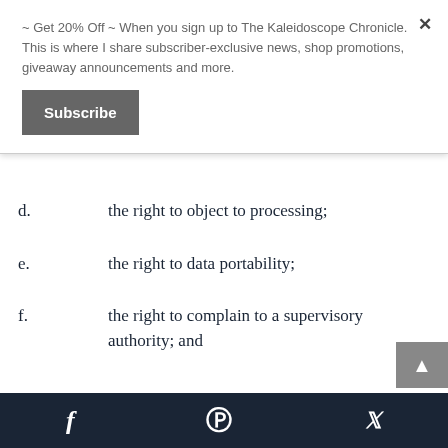~ Get 20% Off ~ When you sign up to The Kaleidoscope Chronicle. This is where I share subscriber-exclusive news, shop promotions, giveaway announcements and more.
Subscribe
d.      the right to object to processing;
e.      the right to data portability;
f.      the right to complain to a supervisory authority; and
f  p  Twitter social icons